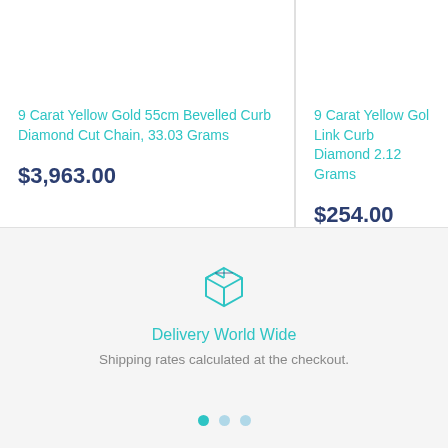9 Carat Yellow Gold 55cm Bevelled Curb Diamond Cut Chain, 33.03 Grams
$3,963.00
9 Carat Yellow Gol... Link Curb Diamond... 2.12 Grams
$254.00
[Figure (illustration): A teal/cyan outlined box icon representing delivery/shipping]
Delivery World Wide
Shipping rates calculated at the checkout.